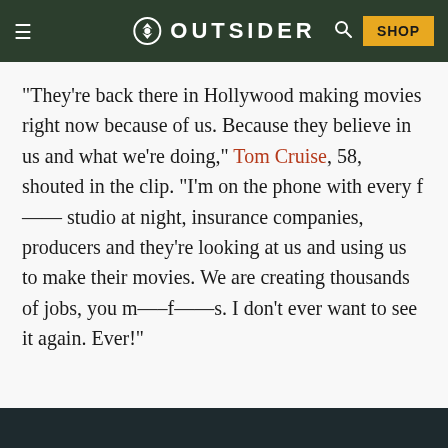OUTSIDER
“They’re back there in Hollywood making movies right now because of us. Because they believe in us and what we’re doing,” Tom Cruise, 58, shouted in the clip. “I’m on the phone with every f—— studio at night, insurance companies, producers and they’re looking at us and using us to make their movies. We are creating thousands of jobs, you m—–f——s. I don’t ever want to see it again. Ever!”